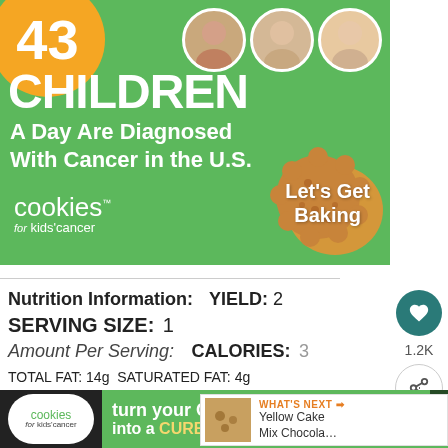[Figure (infographic): Green banner ad for 'Cookies for Kids' Cancer' showing '43 CHILDREN A Day Are Diagnosed With Cancer in the U.S.' with photos of three children and a cookie image with text 'Let's Get Baking']
Nutrition Information:  YIELD: 2
SERVING SIZE: 1
Amount Per Serving:  CALORIES: [partially obscured]
TOTAL FAT: 14g  SATURATED FAT: 4g
[Figure (infographic): Bottom banner ad for 'Cookies for Kids' Cancer' with text 'turn your COOKIES into a CURE LEARN HOW']